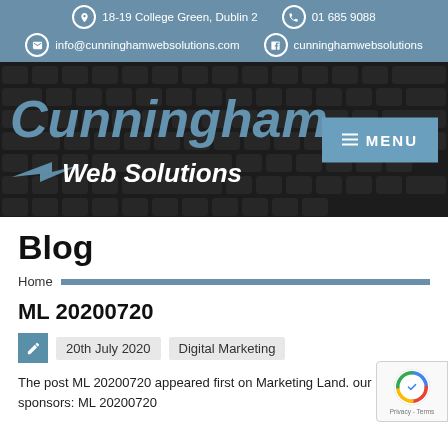18-19 College Green, Dublin 2 | 01 685 9088 | info@cunninghamwebsolutions.com | cunninghamwebsolutions
[Figure (logo): Cunningham Web Solutions logo with keyboard background and MENU button]
Blog
Home
ML 20200720
20th July 2020   Digital Marketing
The post ML 20200720 appeared first on Marketing Land. our sponsors: ML 20200720